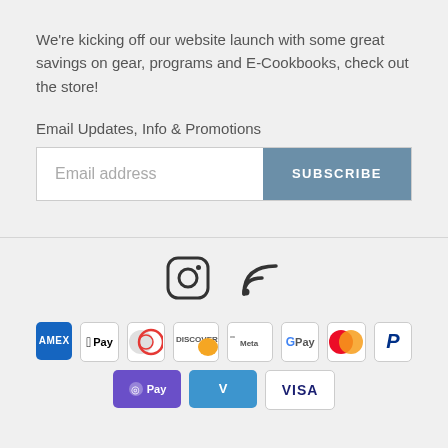We're kicking off our website launch with some great savings on gear, programs and E-Cookbooks, check out the store!
Email Updates, Info & Promotions
Email address  SUBSCRIBE
[Figure (infographic): Instagram and RSS feed social media icons]
[Figure (infographic): Payment method badges: American Express, Apple Pay, Diners Club, Discover, Meta Pay, Google Pay, Mastercard, PayPal, Shop Pay, Venmo, Visa]